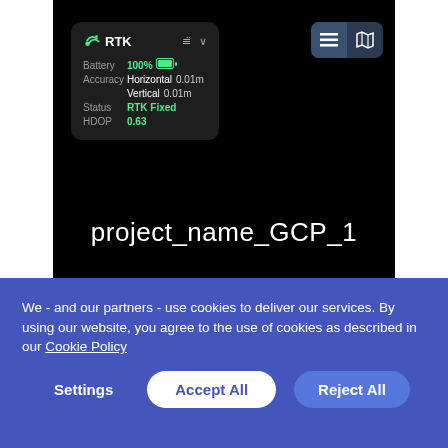[Figure (screenshot): Mobile app screenshot showing RTK GPS panel with Battery 100%, Accuracy Horizontal 0.01m, Vertical 0.01m, Status RTK Fixed, HDOP 0.63. Project name 'project_name_GCP_1' displayed in white text on black background. Map/list view toggle buttons visible.]
We - and our partners - use cookies to deliver our services. By using our website, you agree to the use of cookies as described in our Cookie Policy
Settings   Accept All   Reject All